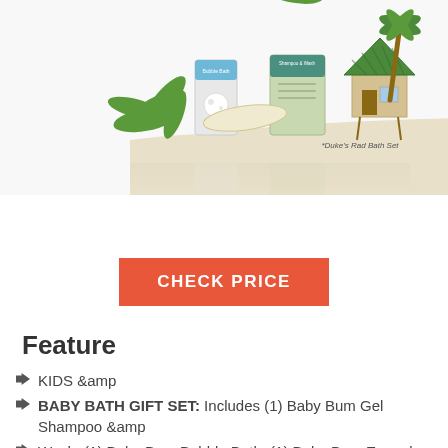[Figure (illustration): Product image of Duke's Rad Bath Set showing bath products (Bubble Bath, Shampoo & Wash) arranged on a tropical beach scene with palm trees and a beach hut, with a reflection below]
CHECK PRICE
Feature
KIDS &amp
BABY BATH GIFT SET: Includes (1) Baby Bum Gel Shampoo &amp
Wash, (1) Baby Bum Bubble Bath, (1) Baby Bum Everyday Lotion, and (1) Duke bath toy.
TEAR-FREE BUBBLE BATH: Transform bath time into